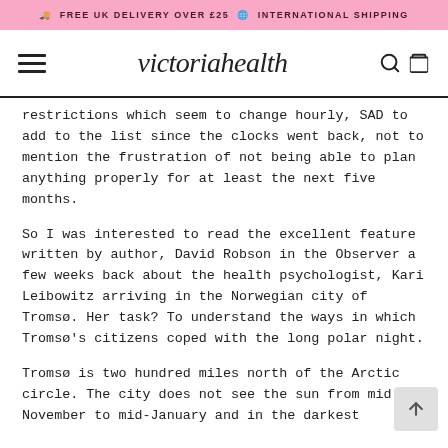🚚 FREE UK DELIVERY OVER £25 🌐 INTERNATIONAL SHIPPING
victoriahealth
restrictions which seem to change hourly, SAD to add to the list since the clocks went back, not to mention the frustration of not being able to plan anything properly for at least the next five months.
So I was interested to read the excellent feature written by author, David Robson in the Observer a few weeks back about the health psychologist, Kari Leibowitz arriving in the Norwegian city of Tromsø. Her task? To understand the ways in which Tromsø's citizens coped with the long polar night.
Tromsø is two hundred miles north of the Arctic circle. The city does not see the sun from mid-November to mid-January and in the darkest